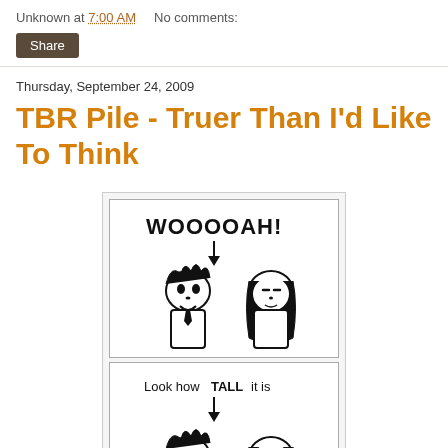Unknown at 7:00 AM   No comments:
Share
Thursday, September 24, 2009
TBR Pile - Truer Than I'd Like To Think
[Figure (illustration): A two-panel comic strip in black and white. Top panel shows two cartoon children (a boy and a girl) with speech bubble text 'WOOOOAH!' with an arrow pointing down. Bottom panel shows the same two children with text 'Look how TALL it is' with an arrow pointing down.]